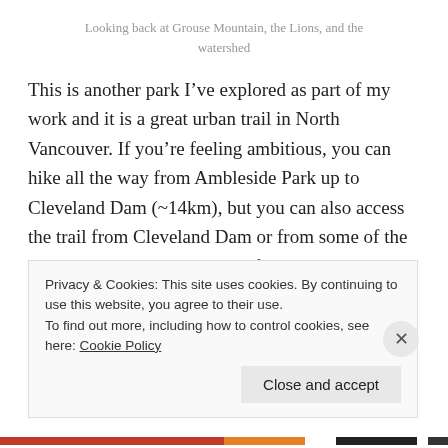Looking back at Grouse Mountain, the Lions, and the watershed
This is another park I’ve explored as part of my work and it is a great urban trail in North Vancouver. If you’re feeling ambitious, you can hike all the way from Ambleside Park up to Cleveland Dam (~14km), but you can also access the trail from Cleveland Dam or from some of the local roads on the West side of the Park. The engineer in me loves Cleveland Dam and there’s a great view of the Lions looking out over Capilano Lake
Privacy & Cookies: This site uses cookies. By continuing to use this website, you agree to their use.
To find out more, including how to control cookies, see here: Cookie Policy
Close and accept